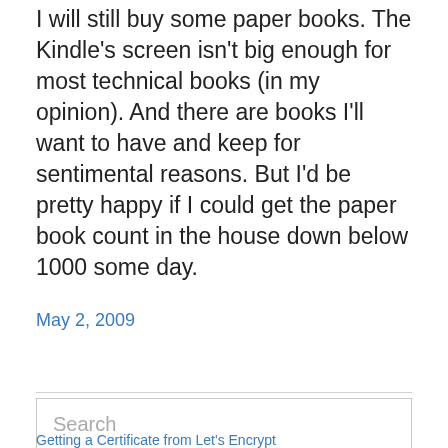I will still buy some paper books.  The Kindle's screen isn't big enough for most technical books (in my opinion).  And there are books I'll want to have and keep for sentimental reasons.  But I'd be pretty happy if I could get the paper book count in the house down below 1000 some day.
May 2, 2009
Search
Privacy & Cookies: This site uses cookies. By continuing to use this website, you agree to their use.
To find out more, including how to control cookies, see here: Cookie Policy
Close and accept
Getting a Certificate from Let's Encrypt